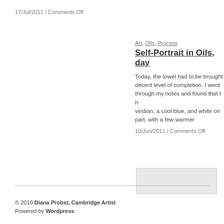17/Jul/2011 / Comments Off
Art, Oils, Process
Self-Portrait in Oils, day
Today, the towel had to be brought to a decent level of completion. I went through my notes and found that I had viridian, a cool blue, and white on s part, with a few warmer
10/Jun/2011 / Comments Off
[Figure (other): Sidebar widget or image box, light grey rectangle]
© 2010 Diana Probst, Cambridge Artist
Powered by Wordpress